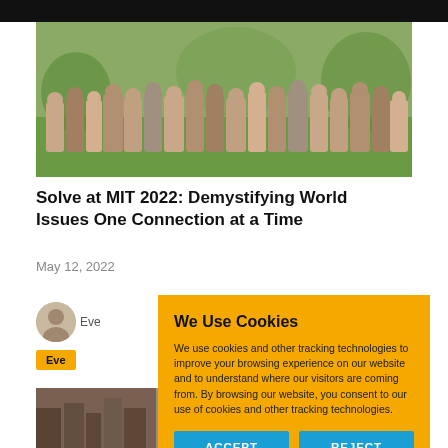[Figure (photo): Group photo of a large crowd of diverse people outdoors at MIT Solve 2022 event, arms raised]
Solve at MIT 2022: Demystifying World Issues One Connection at a Time
May 12, 2022
[Figure (photo): Small circular author avatar photo]
Eve
Events
[Figure (photo): Bottom partial image of bookshelves and a person]
We Use Cookies
We use cookies and other tracking technologies to improve your browsing experience on our website and to understand where our visitors are coming from. By browsing our website, you consent to our use of cookies and other tracking technologies.
ACCEPT  REJECT